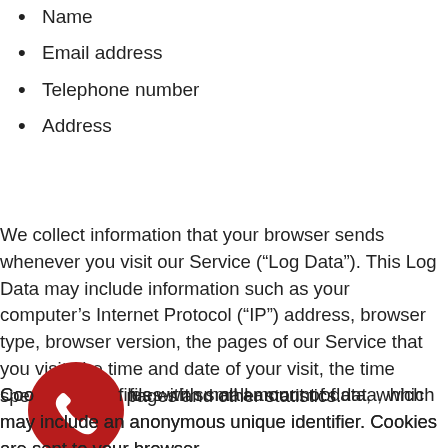Name
Email address
Telephone number
Address
We collect information that your browser sends whenever you visit our Service (“Log Data”). This Log Data may include information such as your computer’s Internet Protocol (“IP”) address, browser type, browser version, the pages of our Service that you visit, the time and date of your visit, the time spent on those pages and other statistics.
[Figure (illustration): Red circle phone icon]
Cookies files with small amount of data, which may include an anonymous unique identifier. Cookies are sent to your browser